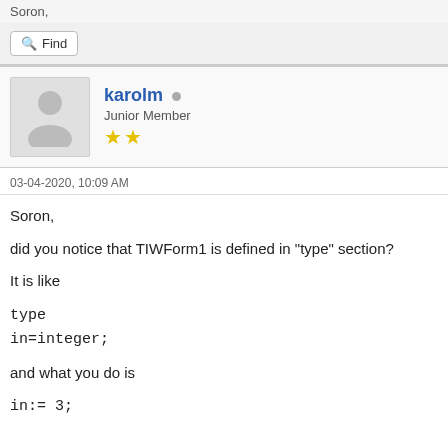Soron,
Find
karolm
Junior Member
★★
03-04-2020, 10:09 AM
Soron,

did you notice that TIWForm1 is defined in "type" section?

It is like

type
in=integer;

and what you do is

in:= 3;